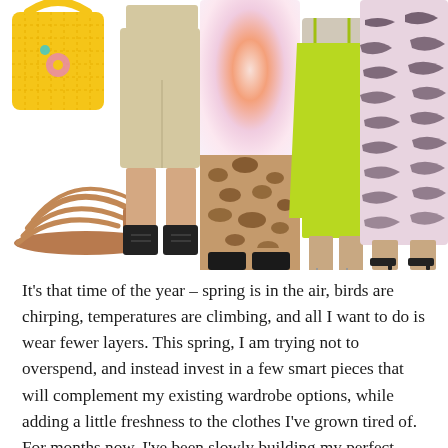[Figure (photo): Composite fashion photo showing spring clothing items: a yellow beaded tote bag, tan strappy heeled sandals, a person wearing beige wide-leg shorts with black combat boots, a person wearing a tie-dye top and leopard print skirt with black combat boots, a person in a neon green slip dress with silver heels, and a person in a black and white tiger print midi dress with black heeled sandals.]
It’s that time of the year – spring is in the air, birds are chirping, temperatures are climbing, and all I want to do is wear fewer layers. This spring, I am trying not to overspend, and instead invest in a few smart pieces that will complement my existing wardrobe options, while adding a little freshness to the clothes I’ve grown tired of. For months now, I’ve been slowly building my perfect spring Shopbop wishlist, and at a recent preview, I actually got to see a lot of these pieces IRL. If you’re